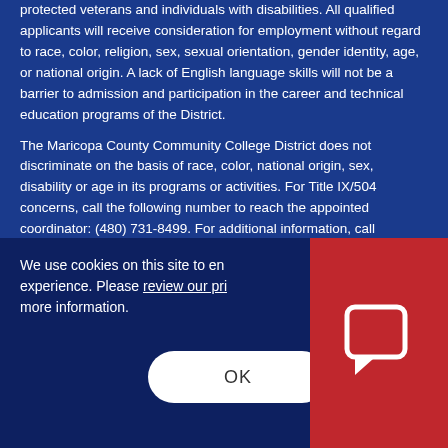protected veterans and individuals with disabilities. All qualified applicants will receive consideration for employment without regard to race, color, religion, sex, sexual orientation, gender identity, age, or national origin. A lack of English language skills will not be a barrier to admission and participation in the career and technical education programs of the District.
The Maricopa County Community College District does not discriminate on the basis of race, color, national origin, sex, disability or age in its programs or activities. For Title IX/504 concerns, call the following number to reach the appointed coordinator: (480) 731-8499. For additional information, call...
We use cookies on this site to enhance your experience. Please review our privacy policy for more information.
OK